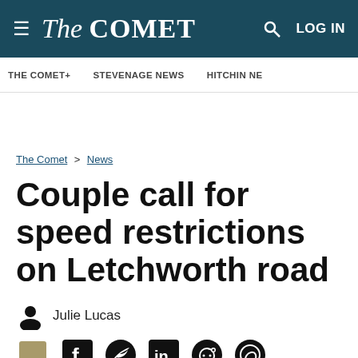The Comet — LOG IN
THE COMET+ | STEVENAGE NEWS | HITCHIN NE...
The Comet > News
Couple call for speed restrictions on Letchworth road
Julie Lucas